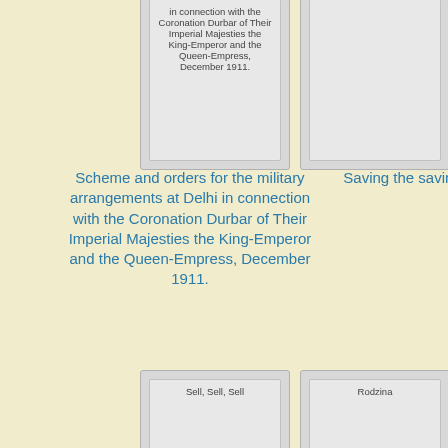[Figure (other): Book card top-left showing partial title text about Coronation Durbar December 1911]
[Figure (other): Book card top-right, blank/empty]
Scheme and orders for the military arrangements at Delhi in connection with the Coronation Durbar of Their Imperial Majesties the King-Emperor and the Queen-Empress, December 1911.
Saving the savings clause
[Figure (other): Book card bottom-left showing title: Sell, Sell, Sell]
[Figure (other): Book card bottom-right showing title: Rodzina]